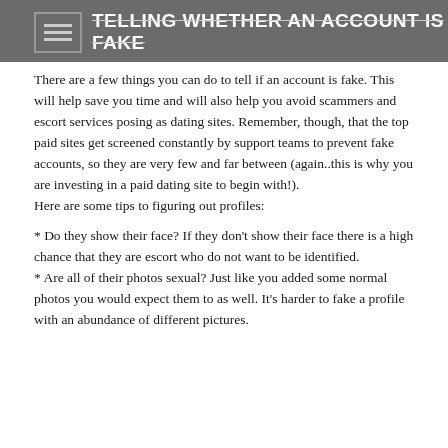TELLING WHETHER AN ACCOUNT IS FAKE
There are a few things you can do to tell if an account is fake. This will help save you time and will also help you avoid scammers and escort services posing as dating sites. Remember, though, that the top paid sites get screened constantly by support teams to prevent fake accounts, so they are very few and far between (again..this is why you are investing in a paid dating site to begin with!). Here are some tips to figuring out profiles:
* Do they show their face? If they don't show their face there is a high chance that they are escort who do not want to be identified.
* Are all of their photos sexual? Just like you added some normal photos you would expect them to as well. It's harder to fake a profile with an abundance of different pictures.